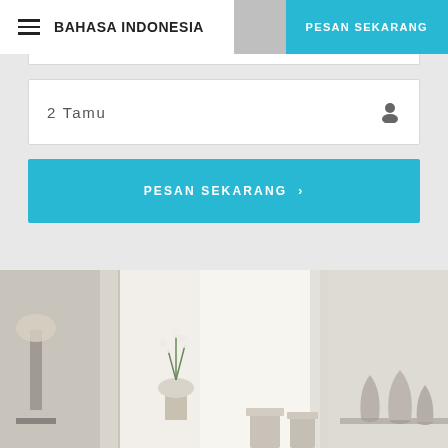BAHASA INDONESIA
PESAN SEKARANG
2 Tamu
PESAN SEKARANG ›
[Figure (photo): Interior room photo showing a bright white dining/living area with white curtains, orchid flower arrangement on the left, lamp, chairs at a table in the center, and decorative vases on the right.]